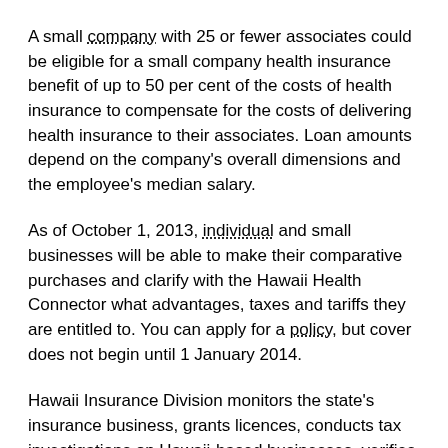A small company with 25 or fewer associates could be eligible for a small company health insurance benefit of up to 50 per cent of the costs of health insurance to compensate for the costs of delivering health insurance to their associates. Loan amounts depend on the company's overall dimensions and the employee's median salary.
As of October 1, 2013, individual and small businesses will be able to make their comparative purchases and clarify with the Hawaii Health Connector what advantages, taxes and tariffs they are entitled to. You can apply for a policy, but cover does not begin until 1 January 2014.
Hawaii Insurance Division monitors the state's insurance business, grants licences, conducts tax investigations on Hawaii-based businesses, verifies tariff and policies applications, and conducts investigations into insurance-related claims.